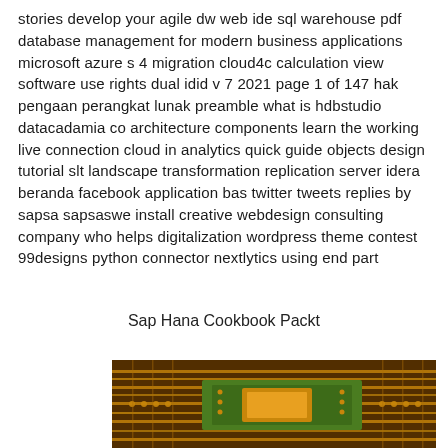stories develop your agile dw web ide sql warehouse pdf database management for modern business applications microsoft azure s 4 migration cloud4c calculation view software use rights dual idid v 7 2021 page 1 of 147 hak pengaan perangkat lunak preamble what is hdbstudio datacadamia co architecture components learn the working live connection cloud in analytics quick guide objects design tutorial slt landscape transformation replication server idera beranda facebook application bas twitter tweets replies by sapsa sapsaswe install creative webdesign consulting company who helps digitalization wordpress theme contest 99designs python connector nextlytics using end part
Sap Hana Cookbook Packt
[Figure (photo): Close-up photograph of a circuit board with gold and green electronic components and traces]